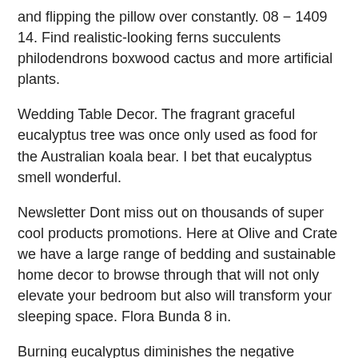and flipping the pillow over constantly. 08 − 1409 14. Find realistic-looking ferns succulents philodendrons boxwood cactus and more artificial plants.
Wedding Table Decor. The fragrant graceful eucalyptus tree was once only used as food for the Australian koala bear. I bet that eucalyptus smell wonderful.
Newsletter Dont miss out on thousands of super cool products promotions. Here at Olive and Crate we have a large range of bedding and sustainable home decor to browse through that will not only elevate your bedroom but also will transform your sleeping space. Flora Bunda 8 in.
Burning eucalyptus diminishes the negative energy from those surroundings. Eucalyptus Decor Ball. The fragrance is amazing and.
This is the one you would have thought of before pinterest. H Faux Eucalyptus and Tea Leaf in 3 in. Shop for eucalyptus decor at bed bath beyond.
Nowadays this hugely popular plant has found its way into the